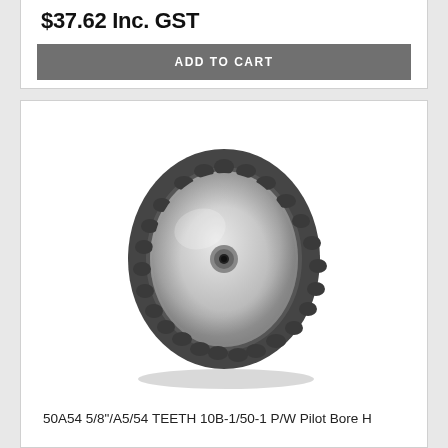$37.62 Inc. GST
ADD TO CART
[Figure (photo): A sprocket/chain wheel with approximately 26 teeth, silver/metallic disc body with dark toothed outer ring and small central bore hole, shown in perspective view against white background.]
50A54 5/8"/A5/54 TEETH 10B-1/50-1 P/W Pilot Bore H
50A54
$115.83 Inc. GST